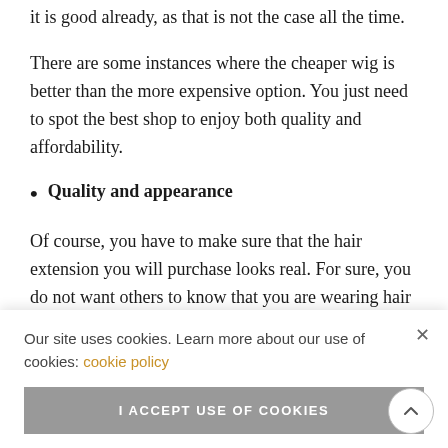it is good already, as that is not the case all the time.
There are some instances where the cheaper wig is better than the more expensive option. You just need to spot the best shop to enjoy both quality and affordability.
Quality and appearance
Of course, you have to make sure that the hair extension you will purchase looks real. For sure, you do not want others to know that you are wearing hair extensions, hence you have to choose a wig that
e sure that durable enough to last even after a long time of wearing it.